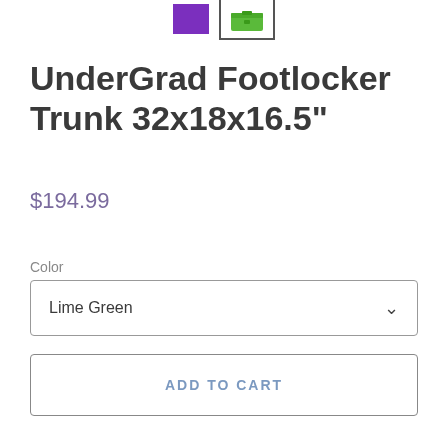[Figure (photo): Two product thumbnail images: a purple color swatch and a lime green footlocker trunk with selected border]
UnderGrad Footlocker Trunk 32x18x16.5"
$194.99
Color
Lime Green
ADD TO CART